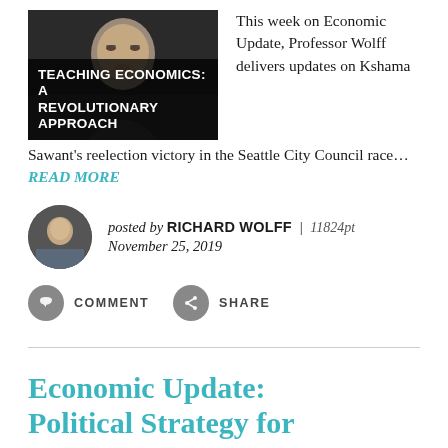[Figure (photo): Thumbnail image of a woman with glasses on dark background with overlay text 'TEACHING ECONOMICS: A REVOLUTIONARY APPROACH']
This week on Economic Update, Professor Wolff delivers updates on Kshama Sawant's reelection victory in the Seattle City Council race....READ MORE
posted by RICHARD WOLFF | 11824pt
November 25, 2019
COMMENT  SHARE
Economic Update: Political Strategy for